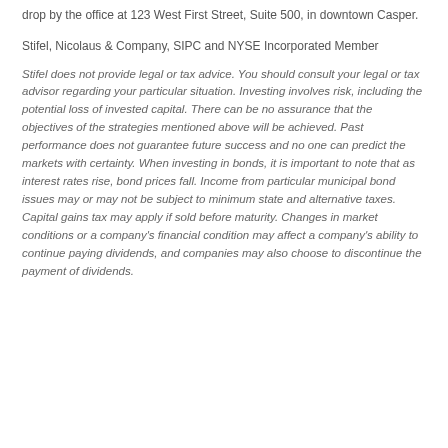drop by the office at 123 West First Street, Suite 500, in downtown Casper.
Stifel, Nicolaus & Company, SIPC and NYSE Incorporated Member
Stifel does not provide legal or tax advice. You should consult your legal or tax advisor regarding your particular situation. Investing involves risk, including the potential loss of invested capital. There can be no assurance that the objectives of the strategies mentioned above will be achieved. Past performance does not guarantee future success and no one can predict the markets with certainty. When investing in bonds, it is important to note that as interest rates rise, bond prices fall. Income from particular municipal bond issues may or may not be subject to minimum state and alternative taxes. Capital gains tax may apply if sold before maturity. Changes in market conditions or a company's financial condition may affect a company's ability to continue paying dividends, and companies may also choose to discontinue the payment of dividends.